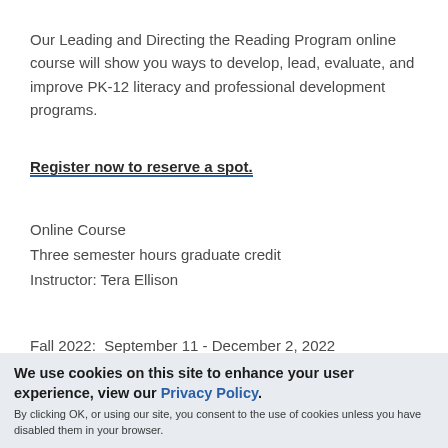Our Leading and Directing the Reading Program online course will show you ways to develop, lead, evaluate, and improve PK-12 literacy and professional development programs.
Register now to reserve a spot.
Online Course
Three semester hours graduate credit
Instructor: Tera Ellison
Fall 2022:  September 11 - December 2, 2022
Tuition: $476 per semester hour graduate credit ($1,428 for
We use cookies on this site to enhance your user experience, view our Privacy Policy.
By clicking OK, or using our site, you consent to the use of cookies unless you have disabled them in your browser.